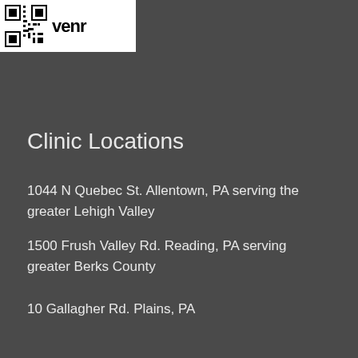[Figure (other): Partial QR code image with Venmo branding visible in upper left corner, white background]
Clinic Locations
1044 N Quebec St. Allentown, PA serving the greater Lehigh Valley
1500 Frush Valley Rd. Reading, PA serving greater Berks County
10 Gallagher Rd. Plains, PA